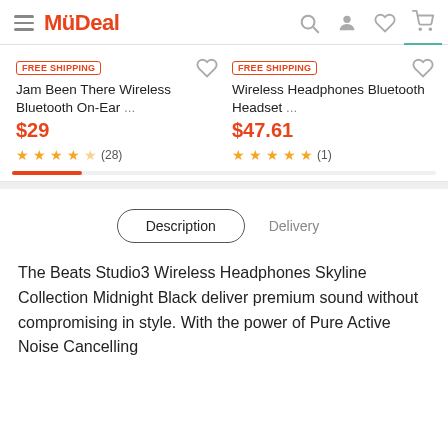MüDeal
[Figure (screenshot): Product card 1: FREE SHIPPING badge, 'Jam Been There Wireless Bluetooth On-Ear ...', $29, 3.5 stars (28 reviews)]
[Figure (screenshot): Product card 2: FREE SHIPPING badge, 'Wireless Headphones Bluetooth Headset ...', $47.61, 5 stars (1 review)]
Description | Delivery
The Beats Studio3 Wireless Headphones Skyline Collection Midnight Black deliver premium sound without compromising in style. With the power of Pure Active Noise Cancelling